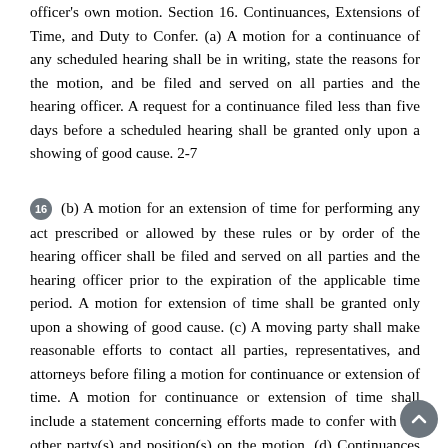officer's own motion. Section 16. Continuances, Extensions of Time, and Duty to Confer. (a) A motion for a continuance of any scheduled hearing shall be in writing, state the reasons for the motion, and be filed and served on all parties and the hearing officer. A request for a continuance filed less than five days before a scheduled hearing shall be granted only upon a showing of good cause. 2-7
16 (b) A motion for an extension of time for performing any act prescribed or allowed by these rules or by order of the hearing officer shall be filed and served on all parties and the hearing officer prior to the expiration of the applicable time period. A motion for extension of time shall be granted only upon a showing of good cause. (c) A moving party shall make reasonable efforts to contact all parties, representatives, and attorneys before filing a motion for continuance or extension of time. A motion for continuance or extension of time shall include a statement concerning efforts made to confer with the other party(s) and position(s) on the motion. (d) Continuances relating to mediation shall be made no later than 30 days prior to the date of the hearing, as referenced in Section 4(b) of this Chapter. Section 17. Discovery. (a) The taking of